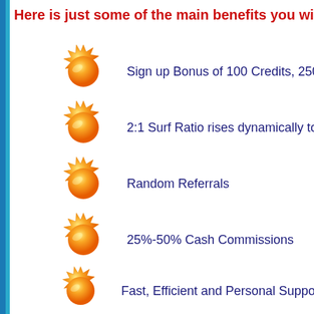Here is just some of the main benefits you will receive
Sign up Bonus of 100 Credits, 250 B
2:1 Surf Ratio rises dynamically to 1
Random Referrals
25%-50% Cash Commissions
Fast, Efficient and Personal Support